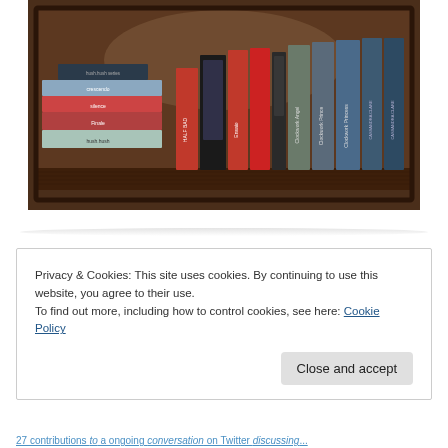[Figure (photo): A wooden bookshelf with various books including hush hush, Crescendo, Silence, Clockwork Angel, Clockwork Prince, Clockwork Princess, Half Bad, and other young adult novels arranged on the shelf.]
Privacy & Cookies: This site uses cookies. By continuing to use this website, you agree to their use.
To find out more, including how to control cookies, see here: Cookie Policy
Close and accept